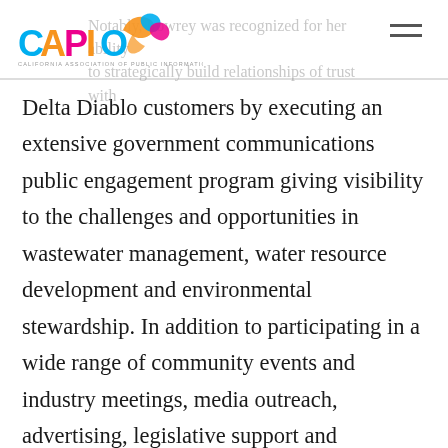CAPIO
Notably, Lowrey was recognized for her ability to strategically build relationships of trust with Delta Diablo customers by executing an extensive government communications public engagement program giving visibility to the challenges and opportunities in wastewater management, water resource development and environmental stewardship. In addition to participating in a wide range of community events and industry meetings, media outreach, advertising, legislative support and educational “linked learning” opportunities over the past year, Lowrey’s unique skillset and diligent efforts resulted in several key accomplishments for the agency’s customer base as well as the industry